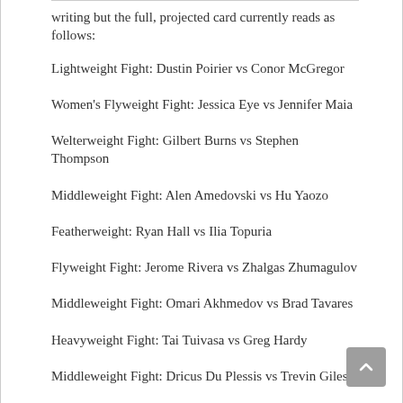writing but the full, projected card currently reads as follows:
Lightweight Fight: Dustin Poirier vs Conor McGregor
Women's Flyweight Fight: Jessica Eye vs Jennifer Maia
Welterweight Fight: Gilbert Burns vs Stephen Thompson
Middleweight Fight: Alen Amedovski vs Hu Yaozo
Featherweight: Ryan Hall vs Ilia Topuria
Flyweight Fight: Jerome Rivera vs Zhalgas Zhumagulov
Middleweight Fight: Omari Akhmedov vs Brad Tavares
Heavyweight Fight: Tai Tuivasa vs Greg Hardy
Middleweight Fight: Dricus Du Plessis vs Trevin Giles
Bantamweight Fight: Sean O'Malley vs Louis Smolka
Welterweight Fight: Kevin Lee vs Sean Brady
Welterweight Fight: Michael Pereira vs Niko Price
Welterweight Fight: Carlston Harris vs ...